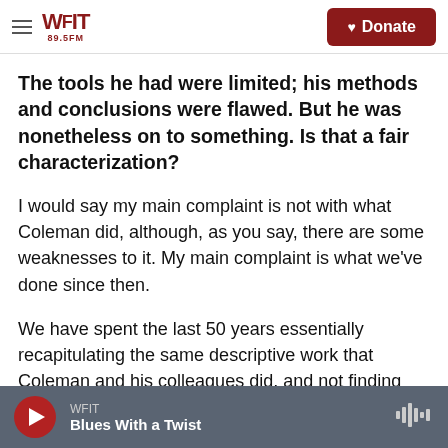WFIT 89.5FM | Donate
The tools he had were limited; his methods and conclusions were flawed. But he was nonetheless on to something. Is that a fair characterization?
I would say my main complaint is not with what Coleman did, although, as you say, there are some weaknesses to it. My main complaint is what we've done since then.
We have spent the last 50 years essentially recapitulating the same descriptive work that Coleman and his colleagues did, and not finding solutions and spreading information about
WFIT — Blues With a Twist